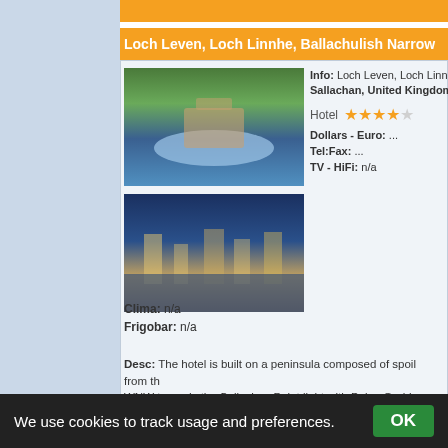Loch Leven, Loch Linnhe, Ballachulish Narrow...
[Figure (photo): Two hotel photos: outdoor pool with trees, and illuminated waterfront at night]
Info: Loch Leven, Loch Linnhe, Ballachulish... Sallachan, United Kingdom:
Hotel ★★★★½
Dollars - Euro: ...
Tel:Fax: ...
TV - HiFi: n/a
Clima: n/a
Frigobar: n/a
Desc: The hotel is built on a peninsula composed of spoil from th... WNW towards the Sallachan Point light with Beinn Garbh, 885m...
In: United Kingdom
Web Site: Loch Leven, Loch Linnhe, Ballachulish Narrows, Cor...
Web Link: http://www.gla.ac.uk/medicalgenetics/seakayaking_le...
We use cookies to track usage and preferences.